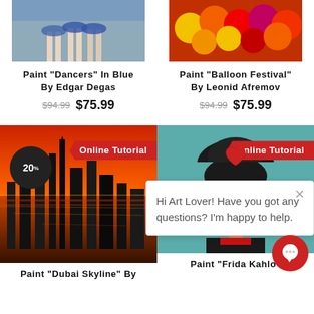[Figure (photo): Painting of ballet dancers legs in blue tones by Edgar Degas, cropped at top]
[Figure (photo): Painting of Balloon Festival with colorful balloons by Leonid Afremov, cropped at top]
Paint "Dancers" In Blue By Edgar Degas
$94.99  $75.99
Paint "Balloon Festival" By Leonid Afremov
$94.99  $75.99
[Figure (photo): Painting of Dubai Skyline at sunset with red and orange tones, with Online Tutorial banner and 20% badge]
[Figure (photo): Painting of Frida Kahlo with teal background, with Online Tutorial banner and chat popup overlay]
Hi Art Lover! Have you got any questions? I'm happy to help.
Paint "Dubai Skyline" By
Paint "Frida Kahlo"